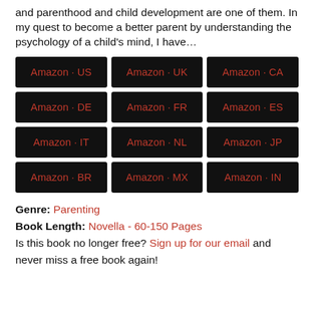and parenthood and child development are one of them. In my quest to become a better parent by understanding the psychology of a child's mind, I have…
[Figure (other): Grid of 12 Amazon regional store buttons (US, UK, CA, DE, FR, ES, IT, NL, JP, BR, MX, IN) with black background and red text]
Genre: Parenting
Book Length: Novella - 60-150 Pages
Is this book no longer free? Sign up for our email and never miss a free book again!